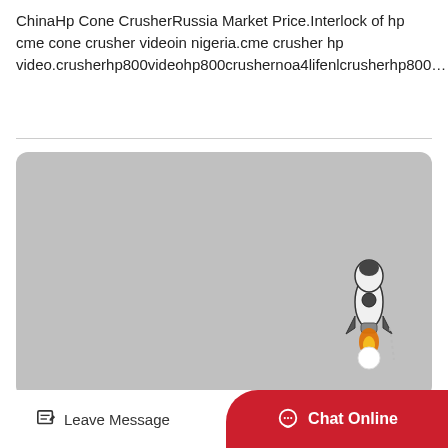ChinaHp Cone CrusherRussia Market Price.Interlock of hp cme cone crusher videoin nigeria.cme crusher hp video.crusherhp800videohp800crushernoa4lifenlcrusherhp800…
[Figure (screenshot): A gray rounded rectangle area (video/image placeholder) with a rocket ship illustration in the lower right corner. The rocket is white and black with an orange flame exhaust.]
Leave Message   Chat Online